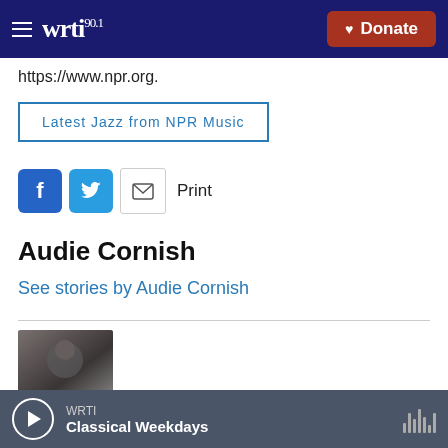WRTI 90.1 — Donate
https://www.npr.org.
Latest Jazz from NPR Music
Print
Audie Cornish
See stories by Audie Cornish
WRTI Classical Weekdays